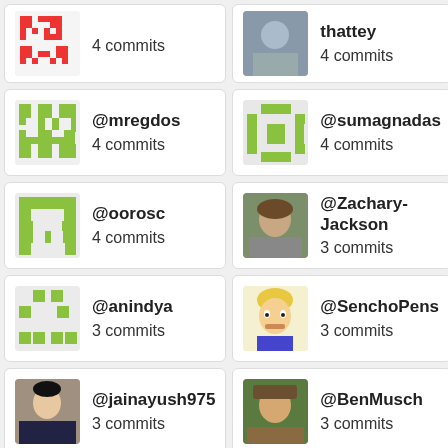[Figure (other): Avatar icon red/white geometric pattern]
4 commits
[Figure (photo): Photo of thattey]
@thattey
4 commits
[Figure (other): Green pixel avatar for @mregdos]
@mregdos
4 commits
[Figure (other): Green pixel avatar for @sumagnadas]
@sumagnadas
4 commits
[Figure (other): Green pixel avatar for @oorosc]
@oorosc
4 commits
[Figure (photo): Photo of Zachary-Jackson]
@Zachary-Jackson
3 commits
[Figure (other): Green pixel avatar for @anindya]
@anindya
3 commits
[Figure (illustration): Cartoon avatar for @SenchoPens (Beavis character)]
@SenchoPens
3 commits
[Figure (photo): Photo of jainayush975]
@jainayush975
3 commits
[Figure (photo): Photo of BenMusch]
@BenMusch
3 commits
[Figure (photo): Photo partial - BGR360]
@BGR360
[Figure (photo): Photo partial - perusen]
@perusen